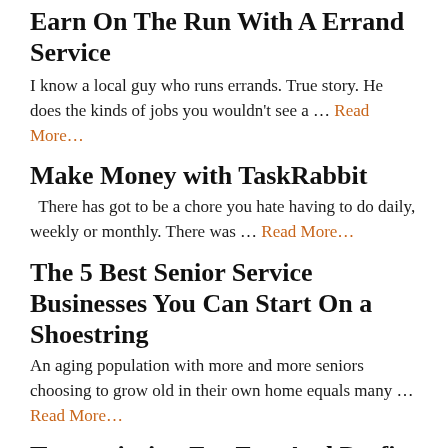Earn On The Run With A Errand Service
I know a local guy who runs errands. True story. He does the kinds of jobs you wouldn't see a … Read More…
Make Money with TaskRabbit
There has got to be a chore you hate having to do daily, weekly or monthly. There was … Read More…
The 5 Best Senior Service Businesses You Can Start On a Shoestring
An aging population with more and more seniors choosing to grow old in their own home equals many … Read More…
Transcription For Fun And Profit
There is a way to make some extra money that